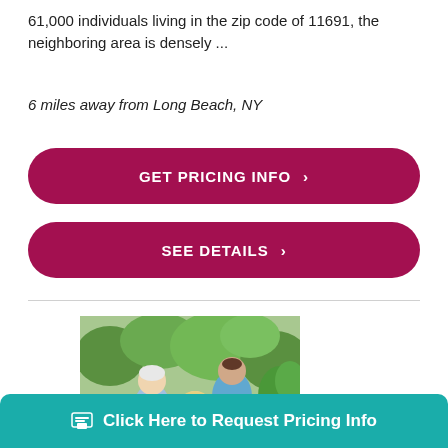61,000 individuals living in the zip code of 11691, the neighboring area is densely ...
6 miles away from Long Beach, NY
[Figure (other): Crimson rounded button: GET PRICING INFO >]
[Figure (other): Crimson rounded button: SEE DETAILS >]
[Figure (photo): Photo of an elderly couple with a caregiver in scrubs outdoors in a garden setting]
[Figure (other): Teal call-to-action bar: Click Here to Request Pricing Info]